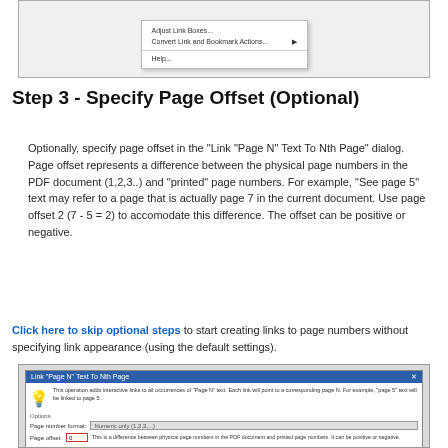[Figure (screenshot): Screenshot of a software context menu showing options including 'Adjust Link Boxes...', 'Convert Link and Bookmark Actions...' with arrow, and 'Help...']
Step 3 - Specify Page Offset (Optional)
Optionally, specify page offset in the "Link "Page N" Text To Nth Page" dialog. Page offset represents a difference between the physical page numbers in the PDF document (1,2,3..) and "printed" page numbers. For example, "See page 5" text may refer to a page that is actually page 7 in the current document. Use page offset 2 (7 - 5 = 2) to accomodate this difference. The offset can be positive or negative.
Click here to skip optional steps to start creating links to page numbers without specifying link appearance (using the default settings).
[Figure (screenshot): Screenshot of 'Link Page N Text To Nth Page' dialog box showing options section with Page number format dropdown set to 'Numeric only (1,2,3,...)' and Page offset field showing 0 with red border, with description text about difference between physical page numbers and printed page numbers.]